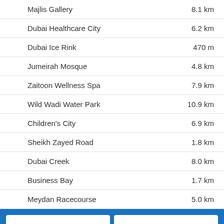Majlis Gallery	8.1 km
Dubai Healthcare City	6.2 km
Dubai Ice Rink	470 m
Jumeirah Mosque	4.8 km
Zaitoon Wellness Spa	7.9 km
Wild Wadi Water Park	10.9 km
Children's City	6.9 km
Sheikh Zayed Road	1.8 km
Dubai Creek	8.0 km
Business Bay	1.7 km
Meydan Racecourse	5.0 km
[Figure (logo): Logos for travel booking sites: Booking.com, Expedia, KAYAK, Hotels.com displayed in a 2x2 grid on a blue background]